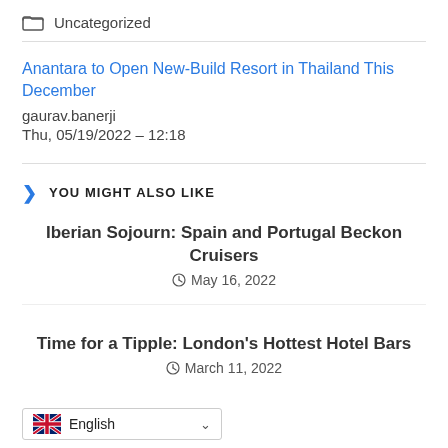Uncategorized
Anantara to Open New-Build Resort in Thailand This December
gaurav.banerji
Thu, 05/19/2022 – 12:18
YOU MIGHT ALSO LIKE
Iberian Sojourn: Spain and Portugal Beckon Cruisers
May 16, 2022
Time for a Tipple: London's Hottest Hotel Bars
March 11, 2022
English